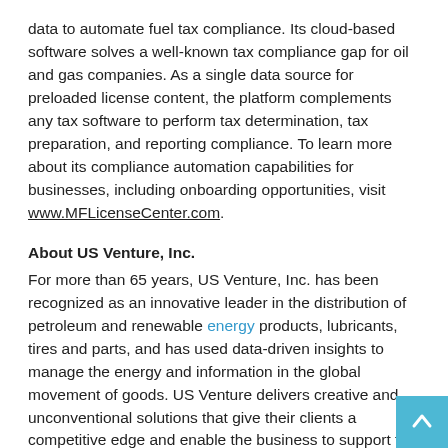data to automate fuel tax compliance. Its cloud-based software solves a well-known tax compliance gap for oil and gas companies. As a single data source for preloaded license content, the platform complements any tax software to perform tax determination, tax preparation, and reporting compliance. To learn more about its compliance automation capabilities for businesses, including onboarding opportunities, visit www.MFLicenseCenter.com.
About US Venture, Inc.
For more than 65 years, US Venture, Inc. has been recognized as an innovative leader in the distribution of petroleum and renewable energy products, lubricants, tires and parts, and has used data-driven insights to manage the energy and information in the global movement of goods. US Venture delivers creative and unconventional solutions that give their clients a competitive edge and enable the business to support the communities in which they live, work and play. Through the values â€‹â€‹lived by the businesses: US Oil, US AutoForce®,